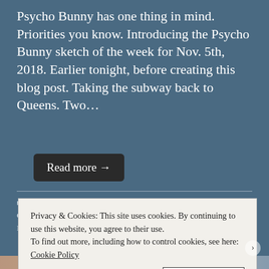Psycho Bunny has one thing in mind. Priorities you know. Introducing the Psycho Bunny sketch of the week for Nov. 5th, 2018. Earlier tonight, before creating this blog post. Taking the subway back to Queens. Two…
Read more →
ALTERNATIVE ART, CARTOON, COMIC CON, COMIC CONS, COMIC ILLUSTRATION, COMICS, COMICS AND ILLUSTRATIONS, COMIX, ILLUSTRATION, ONLY IN NYC,
Privacy & Cookies: This site uses cookies. By continuing to use this website, you agree to their use.
To find out more, including how to control cookies, see here:
Cookie Policy
Close and accept